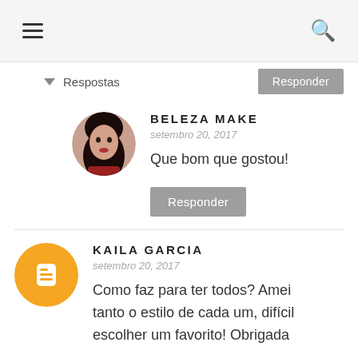≡  🔍
▾ Respostas
BELEZA MAKE
setembro 20, 2017
Que bom que gostou!
Responder
KAILA GARCIA
setembro 20, 2017
Como faz para ter todos? Amei tanto o estilo de cada um, difícil escolher um favorito! Obrigada